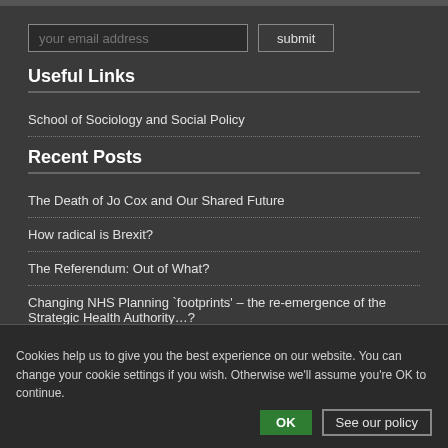[Figure (screenshot): Top grey bar decorative element]
[Figure (screenshot): Email address input field and submit button]
Useful Links
School of Sociology and Social Policy
Recent Posts
The Death of Jo Cox and Our Shared Future
How radical is Brexit?
The Referendum: Out of What?
Changing NHS Planning `footprints' – the re-emergence of the Strategic Health Authority…?
Academy schools and the first 100 days of Cameron's Majority Conservative Government
Categories
Cookies help us to give you the best experience on our website. You can change your cookie settings if you wish. Otherwise we'll assume you're OK to continue.